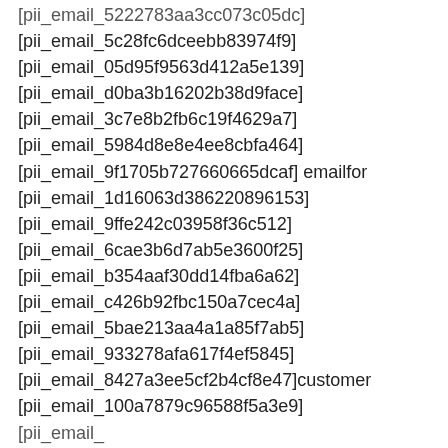[pii_email_5222783aa3cc073c05dc]
[pii_email_5c28fc6dceebb83974f9]
[pii_email_05d95f9563d412a5e139]
[pii_email_d0ba3b16202b38d9face]
[pii_email_3c7e8b2fb6c19f4629a7]
[pii_email_5984d8e8e4ee8cbfa464]
[pii_email_9f1705b727660665dcaf] emailfor
[pii_email_1d16063d386220896153]
[pii_email_9ffe242c03958f36c512]
[pii_email_6cae3b6d7ab5e3600f25]
[pii_email_b354aaf30dd14fba6a62]
[pii_email_c426b92fbc150a7cec4a]
[pii_email_5bae213aa4a1a85f7ab5]
[pii_email_933278afa617f4ef5845]
[pii_email_8427a3ee5cf2b4cf8e47]customer
[pii_email_100a7879c96588f5a3e9]